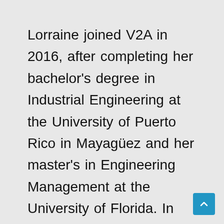Lorraine joined V2A in 2016, after completing her bachelor's degree in Industrial Engineering at the University of Puerto Rico in Mayagüez and her master's in Engineering Management at the University of Florida. In Lorraine's previous work, co-op and internship opportunities in both the manufacturing and service industries, she employed industrial engineering and Lean Six Sigma tools to improve operations productivity without compromising quality standards